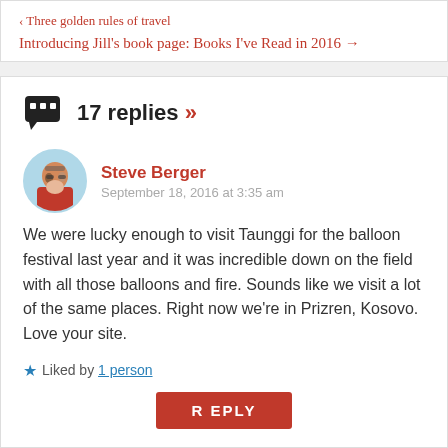‹ Three golden rules of travel
Introducing Jill's book page: Books I've Read in 2016 →
17 replies »
Steve Berger
September 18, 2016 at 3:35 am
We were lucky enough to visit Taunggi for the balloon festival last year and it was incredible down on the field with all those balloons and fire. Sounds like we visit a lot of the same places. Right now we're in Prizren, Kosovo. Love your site.
Liked by 1 person
REPLY